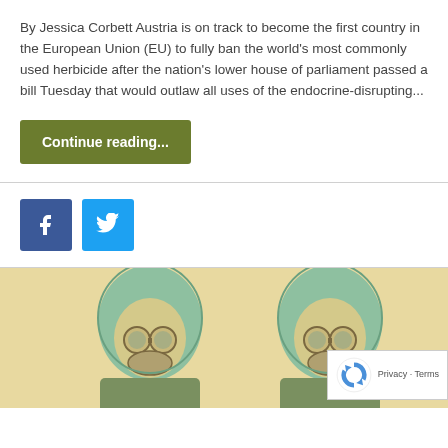By Jessica Corbett Austria is on track to become the first country in the European Union (EU) to fully ban the world's most commonly used herbicide after the nation's lower house of parliament passed a bill Tuesday that would outlaw all uses of the endocrine-disrupting...
Continue reading...
[Figure (other): Facebook and Twitter social share buttons]
[Figure (illustration): Illustration of two figures wearing gas masks and green protective clothing, with a reCAPTCHA privacy badge overlay in the bottom right corner]